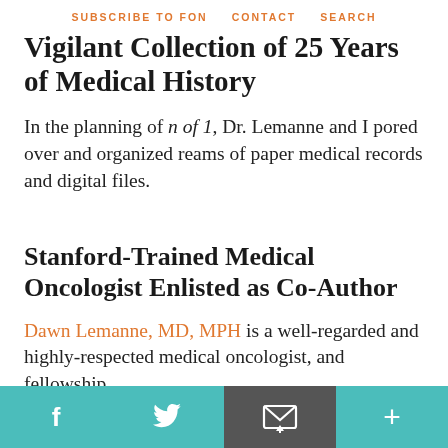SUBSCRIBE TO FON   CONTACT   SEARCH
Vigilant Collection of 25 Years of Medical History
In the planning of n of 1, Dr. Lemanne and I pored over and organized reams of paper medical records and digital files.
Stanford-Trained Medical Oncologist Enlisted as Co-Author
Dawn Lemanne, MD, MPH is a well-regarded and highly-respected medical oncologist, and fellowship
f  [twitter]  [email]  +